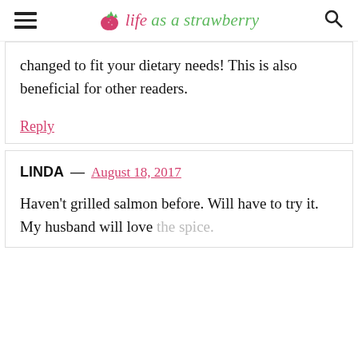life as a strawberry
changed to fit your dietary needs! This is also beneficial for other readers.
Reply
LINDA — August 18, 2017
Haven't grilled salmon before. Will have to try it. My husband will love the spice.